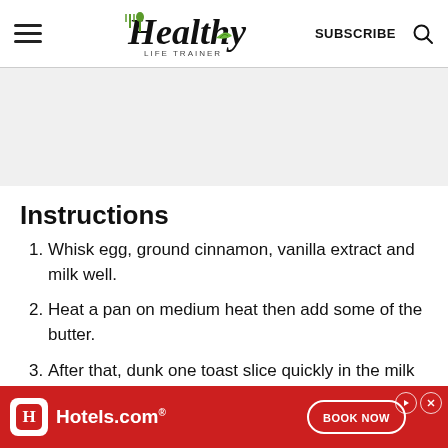Healthy Life Trainer — SUBSCRIBE
Instructions
Whisk egg, ground cinnamon, vanilla extract and milk well.
Heat a pan on medium heat then add some of the butter.
After that, dunk one toast slice quickly in the milk mixture, both sides then place it
[Figure (other): Hotels.com advertisement banner with red background showing Hotels.com logo and BOOK NOW button]